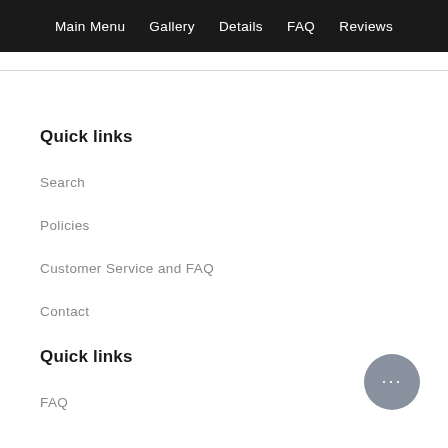Main Menu   Gallery   Details   FAQ   Reviews
Quick links
Search
Policies
Customer Service and FAQ
Contact
Quick links
FAQ